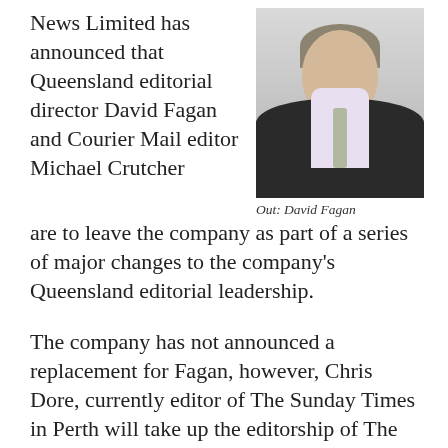News Limited has announced that Queensland editorial director David Fagan and Courier Mail editor Michael Crutcher are to leave the company as part of a series of major changes to the company's Queensland editorial leadership.
[Figure (photo): Portrait photo of David Fagan, a middle-aged man with grey hair wearing a dark suit, light purple shirt and tie]
Out: David Fagan
The company has not announced a replacement for Fagan, however, Chris Dore, currently editor of The Sunday Times in Perth will take up the editorship of The Courier Mail.
Gold Coast Bulletin editor Peter Gleeson will take